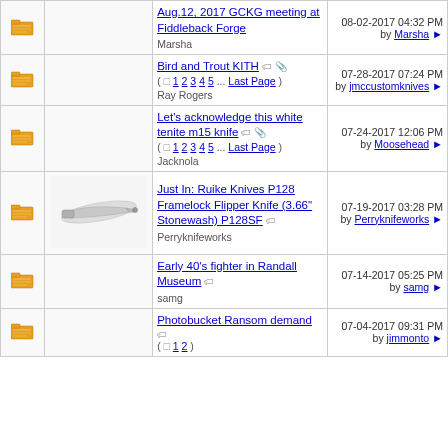Aug 12, 2017 GCKG meeting at Fiddleback Forge by Marsha | 08-02-2017 04:32 PM by Marsha
Bird and Trout KITH (1 2 3 4 5 ... Last Page) Ray Rogers | 07-28-2017 07:24 PM by jmccustomknives
Let's acknowledge this white tenite m15 knife (1 2 3 4 5 ... Last Page) Jacknola | 07-24-2017 12:06 PM by Moosehead
Just In: Ruike Knives P128 Framelock Flipper Knife (3.66" Stonewash) P128SF Perryknifeworks | 07-19-2017 03:28 PM by Perryknifeworks
Early 40's fighter in Randall Museum samg | 07-14-2017 05:25 PM by samg
Photobucket Ransom demand (1 2) | 07-04-2017 09:31 PM by jimmonto